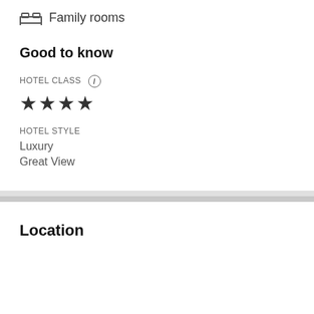Family rooms
Good to know
HOTEL CLASS
[Figure (other): Four filled star icons representing hotel class rating]
HOTEL STYLE
Luxury
Great View
Location